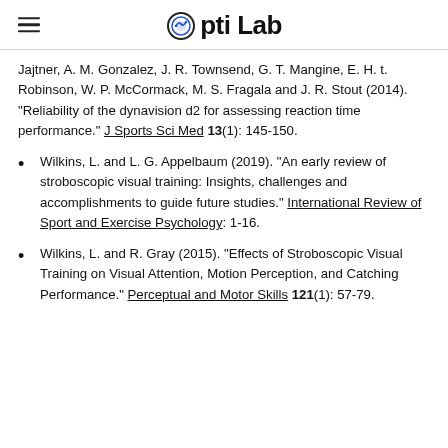Opti Lab
Jajtner, A. M. Gonzalez, J. R. Townsend, G. T. Mangine, E. H. t. Robinson, W. P. McCormack, M. S. Fragala and J. R. Stout (2014). "Reliability of the dynavision d2 for assessing reaction time performance." J Sports Sci Med 13(1): 145-150.
Wilkins, L. and L. G. Appelbaum (2019). "An early review of stroboscopic visual training: Insights, challenges and accomplishments to guide future studies." International Review of Sport and Exercise Psychology: 1-16.
Wilkins, L. and R. Gray (2015). "Effects of Stroboscopic Visual Training on Visual Attention, Motion Perception, and Catching Performance." Perceptual and Motor Skills 121(1): 57-79.